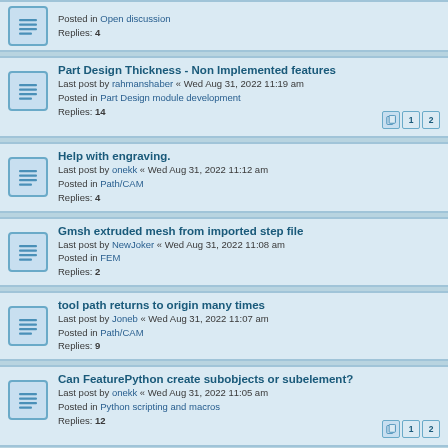Posted in Open discussion
Replies: 4
Part Design Thickness - Non Implemented features
Last post by rahmanshaber « Wed Aug 31, 2022 11:19 am
Posted in Part Design module development
Replies: 14
Help with engraving.
Last post by onekk « Wed Aug 31, 2022 11:12 am
Posted in Path/CAM
Replies: 4
Gmsh extruded mesh from imported step file
Last post by NewJoker « Wed Aug 31, 2022 11:08 am
Posted in FEM
Replies: 2
tool path returns to origin many times
Last post by Joneb « Wed Aug 31, 2022 11:07 am
Posted in Path/CAM
Replies: 9
Can FeaturePython create subobjects or subelement?
Last post by onekk « Wed Aug 31, 2022 11:05 am
Posted in Python scripting and macros
Replies: 12
Roulette à pâtisserie
Last post by Vincent B « Wed Aug 31, 2022 10:54 am
Posted in Forum français
Replies: 3
Export as PDF page too big
Last post by onekk « Wed Aug 31, 2022 10:41 am
Posted in TechDraw